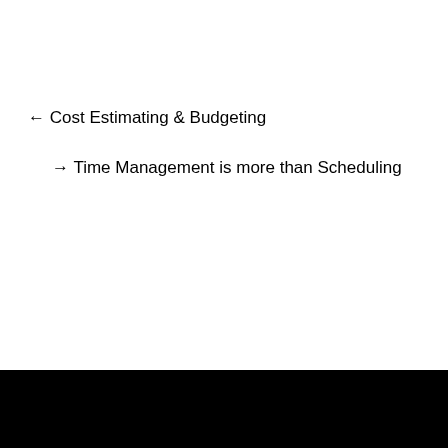← Cost Estimating & Budgeting
→ Time Management is more than Scheduling
ABOUT